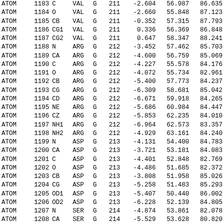| type | serial | name | res | chain | seq | x | y | z |
| --- | --- | --- | --- | --- | --- | --- | --- | --- |
| ATOM | 1183 | C | VAL | G | 211 | -2.604 | 56.987 | 86.635 |
| ATOM | 1184 | O | VAL | G | 211 | -2.660 | 55.848 | 87.123 |
| ATOM | 1185 | CB | VAL | G | 211 | -0.352 | 57.315 | 87.793 |
| ATOM | 1186 | CG1 | VAL | G | 211 | 0.336 | 56.369 | 86.848 |
| ATOM | 1187 | CG2 | VAL | G | 211 | 0.647 | 58.347 | 88.241 |
| ATOM | 1188 | N | ARG | G | 212 | -3.452 | 57.462 | 85.703 |
| ATOM | 1189 | CA | ARG | G | 212 | -4.600 | 56.759 | 85.069 |
| ATOM | 1190 | C | ARG | G | 212 | -4.227 | 55.578 | 84.176 |
| ATOM | 1191 | O | ARG | G | 212 | -4.072 | 55.734 | 82.961 |
| ATOM | 1192 | CB | ARG | G | 212 | -5.400 | 57.773 | 84.237 |
| ATOM | 1193 | CG | ARG | G | 212 | -6.309 | 58.681 | 85.042 |
| ATOM | 1194 | CD | ARG | G | 212 | -6.671 | 59.918 | 84.265 |
| ATOM | 1195 | NE | ARG | G | 212 | -5.686 | 60.984 | 84.447 |
| ATOM | 1196 | CZ | ARG | G | 212 | -5.853 | 62.235 | 84.010 |
| ATOM | 1197 | NH1 | ARG | G | 212 | -6.964 | 62.573 | 83.357 |
| ATOM | 1198 | NH2 | ARG | G | 212 | -4.929 | 63.161 | 84.240 |
| ATOM | 1199 | N | ASP | G | 213 | -4.131 | 54.400 | 84.783 |
| ATOM | 1200 | CA | ASP | G | 213 | -3.721 | 53.181 | 84.083 |
| ATOM | 1201 | C | ASP | G | 213 | -4.401 | 52.848 | 82.769 |
| ATOM | 1202 | O | ASP | G | 213 | -4.486 | 51.685 | 82.372 |
| ATOM | 1203 | CB | ASP | G | 213 | -3.808 | 51.958 | 85.026 |
| ATOM | 1204 | CG | ASP | G | 213 | -5.258 | 51.483 | 85.293 |
| ATOM | 1205 | OD1 | ASP | G | 213 | -5.407 | 50.440 | 86.002 |
| ATOM | 1206 | OD2 | ASP | G | 213 | -6.228 | 52.139 | 84.805 |
| ATOM | 1207 | N | SER | G | 214 | -4.874 | 53.861 | 82.078 |
| ATOM | 1208 | CA | SER | G | 214 | -5.529 | 53.628 | 80.820 |
| ATOM | 1209 | C | SER | G | 214 | -5.431 | 54.942 | 80.122 |
| ATOM | 1210 | O | SER | G | 214 | -6.331 | 55.353 | 79.375 |
| ATOM | 1211 | CB | SER | G | 214 | -6.994 | 53.235 | 81.020 |
| ATOM | 1212 | OG | SER | G | 214 | -7.793 | 54.342 | 81.396 |